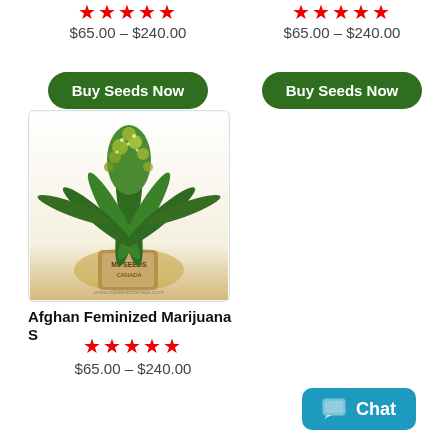★★★★★ $65.00 – $240.00 (left column top)
Buy Seeds Now (left)
★★★★★ $65.00 – $240.00 (right column top)
Buy Seeds Now (right)
[Figure (photo): Afghan Feminized Marijuana Seeds cannabis plant with dense green buds and a burlap seed bag, MJ Seeds Canada branding]
Afghan Feminized Marijuana S
★★★★★
$65.00 – $240.00
Chat